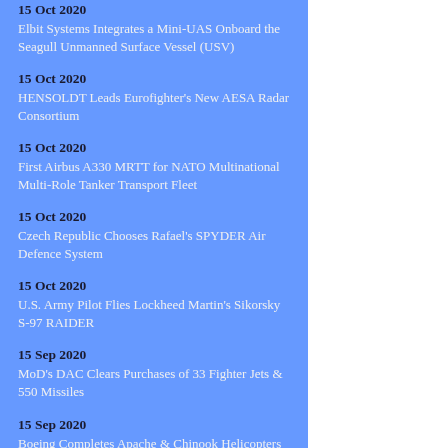15 Oct 2020
Elbit Systems Integrates a Mini-UAS Onboard the Seagull Unmanned Surface Vessel (USV)
15 Oct 2020
HENSOLDT Leads Eurofighter's New AESA Radar Consortium
15 Oct 2020
First Airbus A330 MRTT for NATO Multinational Multi-Role Tanker Transport Fleet
15 Oct 2020
Czech Republic Chooses Rafael's SPYDER Air Defence System
15 Oct 2020
U.S. Army Pilot Flies Lockheed Martin's Sikorsky S-97 RAIDER
15 Sep 2020
MoD's DAC Clears Purchases of 33 Fighter Jets & 550 Missiles
15 Sep 2020
Boeing Completes Apache & Chinook Helicopters Deliveries to IAF
15 Sep 2020
Eastern Naval Command Gets New Chief of Staff